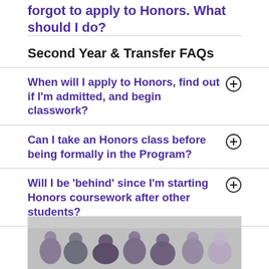forgot to apply to Honors. What should I do?
Second Year & Transfer FAQs
When will I apply to Honors, find out if I'm admitted, and begin classwork?
Can I take an Honors class before being formally in the Program?
Will I be 'behind' since I'm starting Honors coursework after other students?
[Figure (photo): Group photo of students in a classroom or event setting]